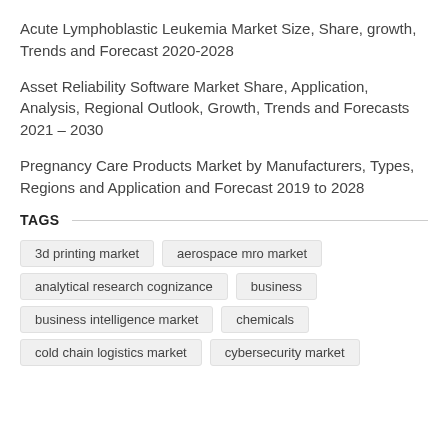Acute Lymphoblastic Leukemia Market Size, Share, growth, Trends and Forecast 2020-2028
Asset Reliability Software Market Share, Application, Analysis, Regional Outlook, Growth, Trends and Forecasts 2021 – 2030
Pregnancy Care Products Market by Manufacturers, Types, Regions and Application and Forecast 2019 to 2028
TAGS
3d printing market
aerospace mro market
analytical research cognizance
business
business intelligence market
chemicals
cold chain logistics market
cybersecurity market